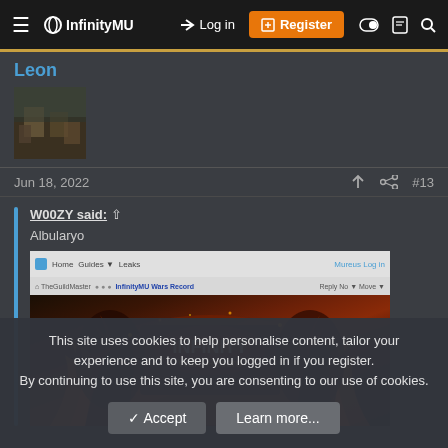InfinityMU — Log in | Register
Leon
[Figure (screenshot): User avatar thumbnail showing a dark outdoor scene]
Jun 18, 2022 #13
W00ZY said: ↑
Albularyo
[Figure (screenshot): Screenshot of InfinityMU Wars Record page showing a game banner with dark fantasy characters and fire effects]
This site uses cookies to help personalise content, tailor your experience and to keep you logged in if you register.
By continuing to use this site, you are consenting to our use of cookies.
Accept | Learn more...